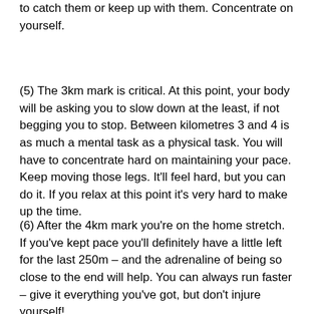to catch them or keep up with them. Concentrate on yourself.
(5) The 3km mark is critical. At this point, your body will be asking you to slow down at the least, if not begging you to stop. Between kilometres 3 and 4 is as much a mental task as a physical task. You will have to concentrate hard on maintaining your pace. Keep moving those legs. It'll feel hard, but you can do it. If you relax at this point it's very hard to make up the time.
(6) After the 4km mark you're on the home stretch. If you've kept pace you'll definitely have a little left for the last 250m – and the adrenaline of being so close to the end will help. You can always run faster – give it everything you've got, but don't injure yourself!